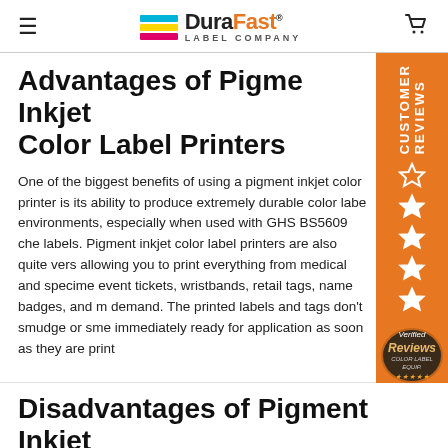DuraFast Label Company
Advantages of Pigment Inkjet Color Label Printers
One of the biggest benefits of using a pigment inkjet color printer is its ability to produce extremely durable color labels for harsh environments, especially when used with GHS BS5609 chemical labels. Pigment inkjet color label printers are also quite versatile, allowing you to print everything from medical and specimen labels to event tickets, wristbands, retail tags, name badges, and much more on demand. The printed labels and tags don't smudge or smear and are immediately ready for application as soon as they are printed.
[Figure (infographic): Orange sidebar with CUSTOMER REVIEWS text rotated vertically, star rating icons, and a Verified Reviews badge]
Disadvantages of Pigment Inkjet Color Label Printers